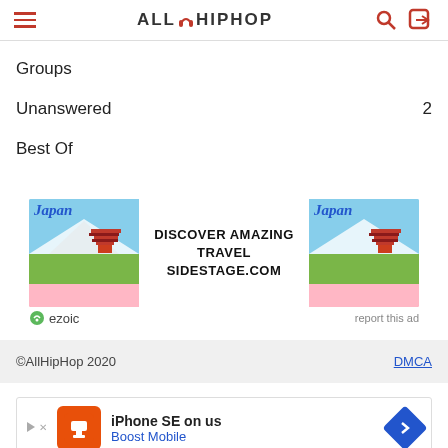AllHipHop
Groups
Unanswered  2
Best Of
[Figure (other): Advertisement banner: Japan travel ad showing pagoda and Mt. Fuji images with text DISCOVER AMAZING TRAVEL SIDESTAGE.COM, ezoic label, report this ad link]
©AllHipHop 2020  DMCA
[Figure (other): Advertisement: iPhone SE on us - Boost Mobile, with orange Boost Mobile icon and blue diamond navigation arrow]